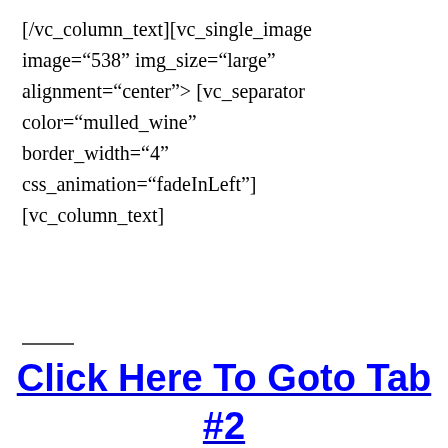[/vc_column_text][vc_single_image image="538" img_size="large" alignment="center" onclick="link_image"][vc_separator color="mulled_wine" border_width="4" css_animation="fadeInLeft"][vc_column_text]
——
Click Here To Goto Tab #2